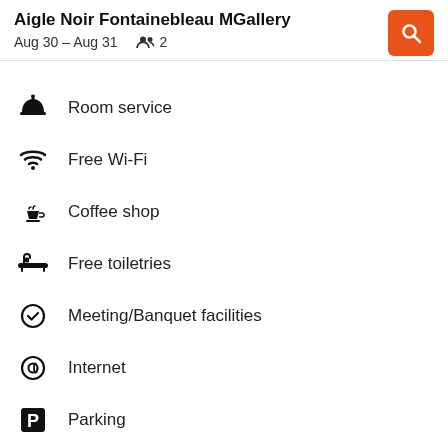Aigle Noir Fontainebleau MGallery
Aug 30 – Aug 31    👥 2
Room service
Free Wi-Fi
Coffee shop
Free toiletries
Meeting/Banquet facilities
Internet
Parking
Laundry service
Laundry facilities